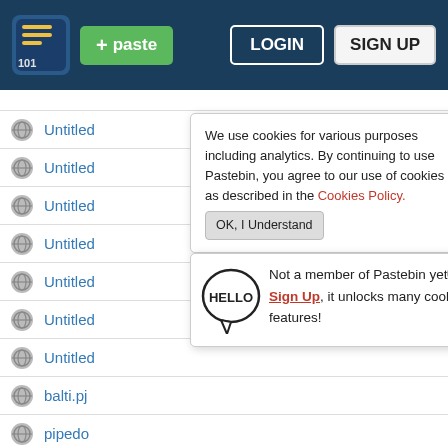Pastebin header with logo, + paste button, LOGIN and SIGN UP buttons
Untitled -
Untitled -
Untitled -
Untitled -
Untitled -
Untitled (partial)
Untitled (partial)
balti.pj (partial)
pipedo (partial)
Untitled (partial)
LOSTINTHEHEATOFITALL -
We use cookies for various purposes including analytics. By continuing to use Pastebin, you agree to our use of cookies as described in the Cookies Policy. OK, I Understand
Not a member of Pastebin yet? Sign Up, it unlocks many cool features!